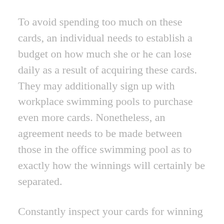To avoid spending too much on these cards, an individual needs to establish a budget on how much she or he can lose daily as a result of acquiring these cards. They may additionally sign up with workplace swimming pools to purchase even more cards. Nonetheless, an agreement needs to be made between those in the office swimming pool as to exactly how the winnings will certainly be separated.
Constantly inspect your cards for winning numbers. You must additionally assert your cash instantly. There are great deals of unclaimed cash prizes. You can declare these prizes in a period of one year. By executing these Lottery game Scratch Gamings Tips, you might find yourself delighting in constant